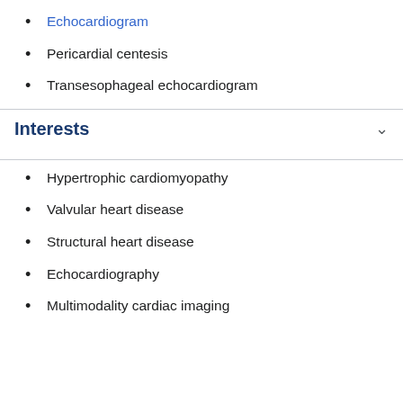Echocardiogram
Pericardial centesis
Transesophageal echocardiogram
Interests
Hypertrophic cardiomyopathy
Valvular heart disease
Structural heart disease
Echocardiography
Multimodality cardiac imaging